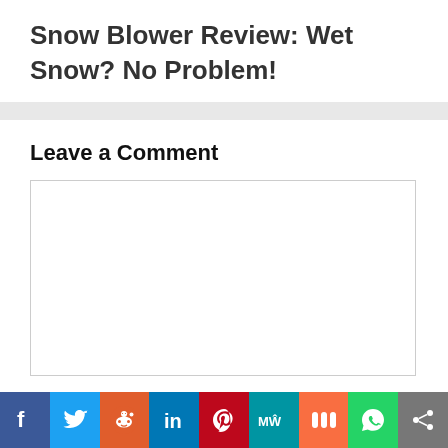Snow Blower Review: Wet Snow? No Problem!
Leave a Comment
[Figure (other): Comment text area input box]
[Figure (infographic): Social sharing buttons bar: Facebook, Twitter, Reddit, LinkedIn, Pinterest, MeWe, Mix, WhatsApp, Share]